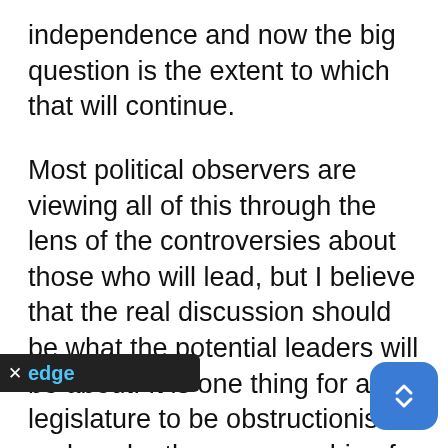independence and now the big question is the extent to which that will continue.
Most political observers are viewing all of this through the lens of the controversies about those who will lead, but I believe that the real discussion should be what the potential leaders will be about. It is one thing for a legislature to be obstructionist and, under the governorship of governor whose only claim to fame is that he raised taxes by billions in order to sustain a government that perpetually ranks last in success, that may not be all bad. But with the massive voter of approval of conservative Republican values demonstrated by those